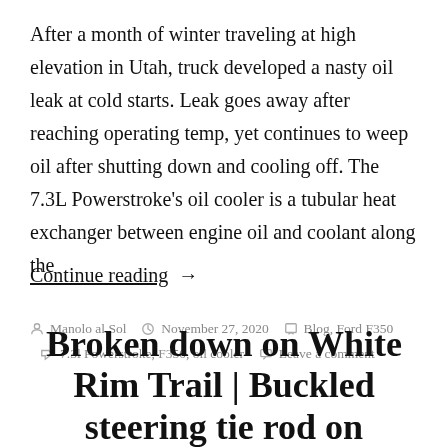After a month of winter traveling at high elevation in Utah, truck developed a nasty oil leak at cold starts. Leak goes away after reaching operating temp, yet continues to weep oil after shutting down and cooling off. The 7.3L Powerstroke's oil cooler is a tubular heat exchanger between engine oil and coolant along the
Continue reading  →
Manolo al Sol   November 27, 2020   Blog, Ford F350   7.3l Powerstroke, F350, oil cooler   Leave a comment
Broken down on White Rim Trail | Buckled steering tie rod on